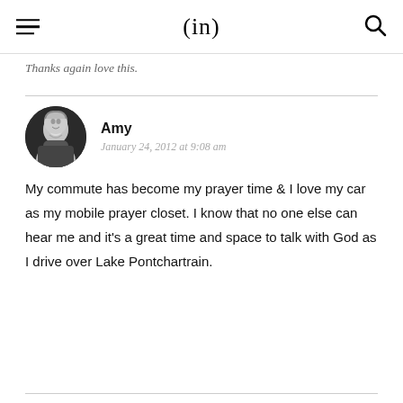(in)
Thanks again  love this.
Amy
January 24, 2012 at 9:08 am

My commute has become my prayer time & I love my car as my mobile prayer closet. I know that no one else can hear me and it's a great time and space to talk with God as I drive over Lake Pontchartrain.